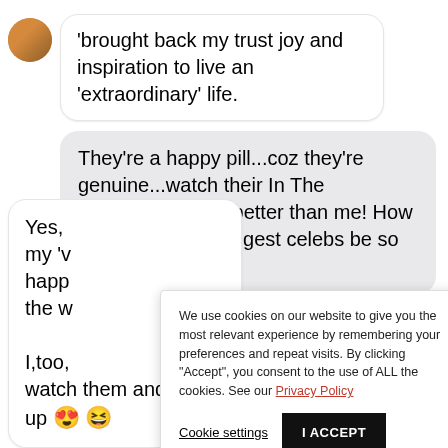'brought back my trust joy and inspiration to live an 'extraordinary' life.
They're a happy pill...coz they're genuine...watch their In The Soop...they cook better than me! How can the world's biggest celebs be so ordinary?
We use cookies on our website to give you the most relevant experience by remembering your preferences and repeat visits. By clicking "Accept", you consent to the use of ALL the cookies. See our Privacy Policy
Yes, my 'v happ the w I,too, watch them and perk up 😍 😆